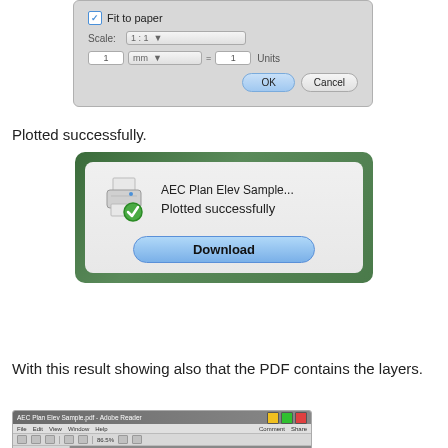[Figure (screenshot): Dialog box showing print/plot settings with Fit to paper checkbox, Scale 1:1 dropdown, unit fields, and OK/Cancel buttons]
Plotted successfully.
[Figure (screenshot): Plot success dialog showing printer icon with green checkmark, text 'AEC Plan Elev Sample... Plotted successfully' and a Download button]
With this result showing also that the PDF contains the layers.
[Figure (screenshot): Adobe Reader window showing the AEC Plan Elev Sample PDF with Layers panel visible]